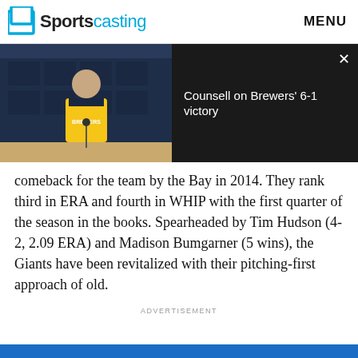Sportscasting | MENU
[Figure (screenshot): Video player showing a Milwaukee Brewers press conference with overlaid text 'Counsell on Brewers' 6-1 victory' and a close button (×) in the top right corner.]
comeback for the team by the Bay in 2014. They rank third in ERA and fourth in WHIP with the first quarter of the season in the books. Spearheaded by Tim Hudson (4-2, 2.09 ERA) and Madison Bumgarner (5 wins), the Giants have been revitalized with their pitching-first approach of old.
ADVERTISEMENT